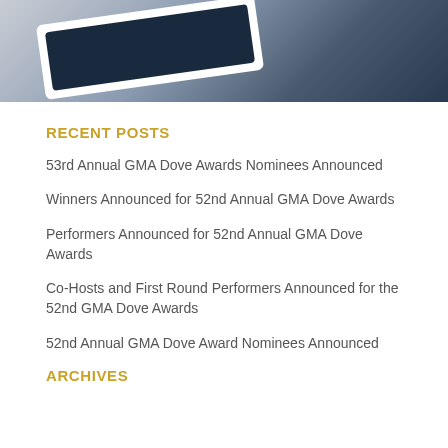[Figure (photo): Partial view of a tablet/iPad on a marble surface, angled view, dark screen visible]
RECENT POSTS
53rd Annual GMA Dove Awards Nominees Announced
Winners Announced for 52nd Annual GMA Dove Awards
Performers Announced for 52nd Annual GMA Dove Awards
Co-Hosts and First Round Performers Announced for the 52nd GMA Dove Awards
52nd Annual GMA Dove Award Nominees Announced
ARCHIVES